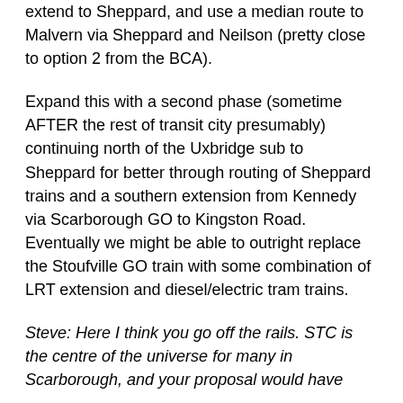extend to Sheppard, and use a median route to Malvern via Sheppard and Neilson (pretty close to option 2 from the BCA).
Expand this with a second phase (sometime AFTER the rest of transit city presumably) continuing north of the Uxbridge sub to Sheppard for better through routing of Sheppard trains and a southern extension from Kennedy via Scarborough GO to Kingston Road. Eventually we might be able to outright replace the Stoufville GO train with some combination of LRT extension and diesel/electric tram trains.
Steve: Here I think you go off the rails. STC is the centre of the universe for many in Scarborough, and your proposal would have